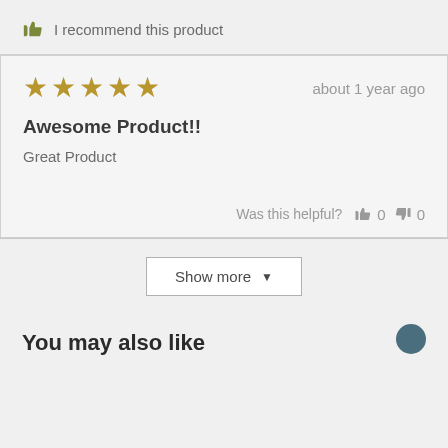I recommend this product
★★★★★   about 1 year ago
Awesome Product!!
Great Product
Was this helpful? 👍 0 👎 0
Show more
You may also like